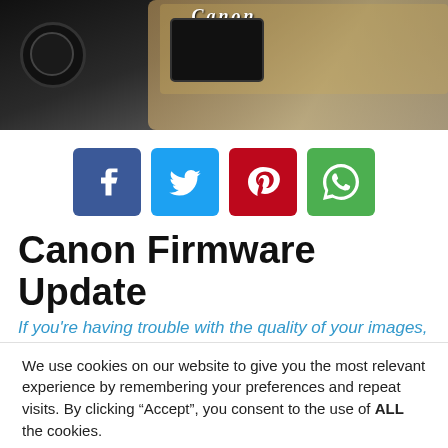[Figure (photo): Canon camera close-up photo at the top of the page, showing the Canon logo and a screen/display]
[Figure (infographic): Social sharing buttons: Facebook (blue), Twitter (light blue), Pinterest (red), WhatsApp (green)]
Canon Firmware Update
If you're having trouble with the quality of your images, it's time
We use cookies on our website to give you the most relevant experience by remembering your preferences and repeat visits. By clicking “Accept”, you consent to the use of ALL the cookies.
Do not sell my personal information.